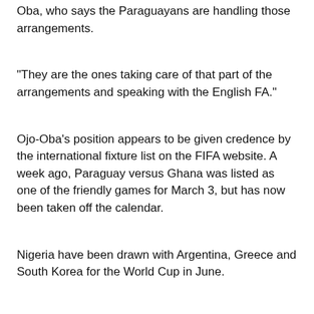Oba, who says the Paraguayans are handling those arrangements.
"They are the ones taking care of that part of the arrangements and speaking with the English FA."
Ojo-Oba's position appears to be given credence by the international fixture list on the FIFA website. A week ago, Paraguay versus Ghana was listed as one of the friendly games for March 3, but has now been taken off the calendar.
Nigeria have been drawn with Argentina, Greece and South Korea for the World Cup in June.
This Day